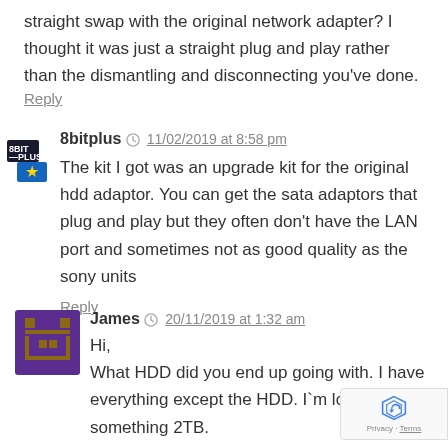straight swap with the original network adapter? I thought it was just a straight plug and play rather than the dismantling and disconnecting you've done.
Reply
8bitplus  11/02/2019 at 8:58 pm
The kit I got was an upgrade kit for the original hdd adaptor. You can get the sata adaptors that plug and play but they often don't have the LAN port and sometimes not as good quality as the sony units
Reply
James  20/11/2019 at 1:32 am
Hi,
What HDD did you end up going with. I have everything except the HDD. I`m looking for something 2TB.
Reply